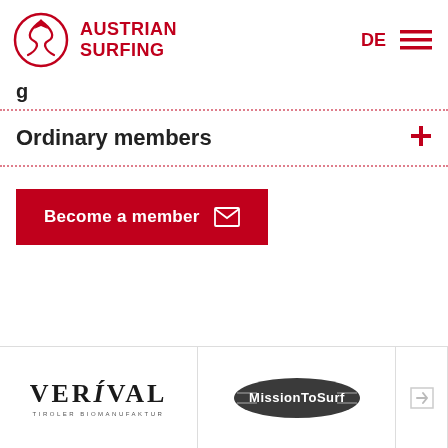Austrian Surfing | DE
Ordinary members
Become a member
[Figure (logo): Verival Tiroler Biomanufaktur logo]
[Figure (logo): MissionToSurf logo - oval dark badge with text]